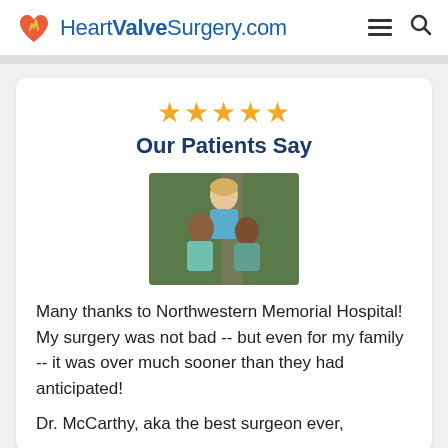HeartValveSurgery.com
Our Patients Say
[Figure (photo): Photo of three people smiling together outdoors]
Many thanks to Northwestern Memorial Hospital! My surgery was not bad -- but even for my family -- it was over much sooner than they had anticipated!
Dr. McCarthy, aka the best surgeon ever,